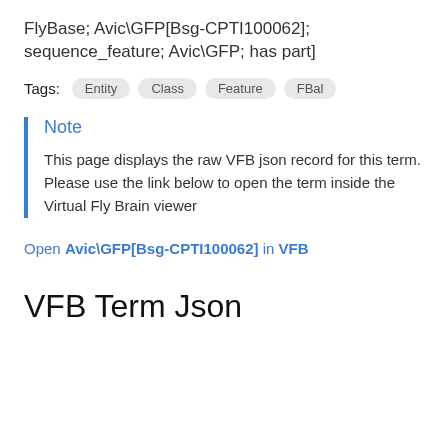FlyBase; Avic\GFP[Bsg-CPTI100062]; sequence_feature; Avic\GFP; has part]
Tags:  Entity  Class  Feature  FBal
Note
This page displays the raw VFB json record for this term. Please use the link below to open the term inside the Virtual Fly Brain viewer
Open Avic\GFP[Bsg-CPTI100062] in VFB
VFB Term Json